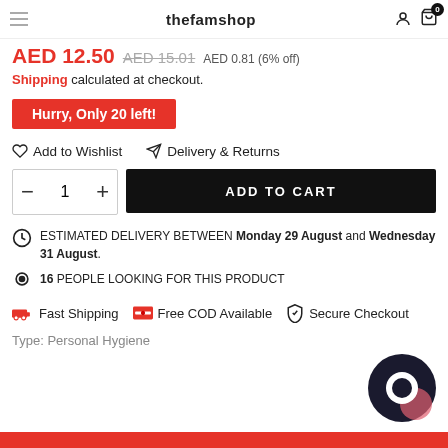thefamshop
AED 12.50  AED 15.01  AED 0.81 (6% off)
Shipping calculated at checkout.
Hurry, Only 20 left!
Add to Wishlist    Delivery & Returns
− 1 +  ADD TO CART
ESTIMATED DELIVERY BETWEEN Monday 29 August and Wednesday 31 August.
16 PEOPLE LOOKING FOR THIS PRODUCT
Fast Shipping  Free COD Available  Secure Checkout
Type: Personal Hygiene